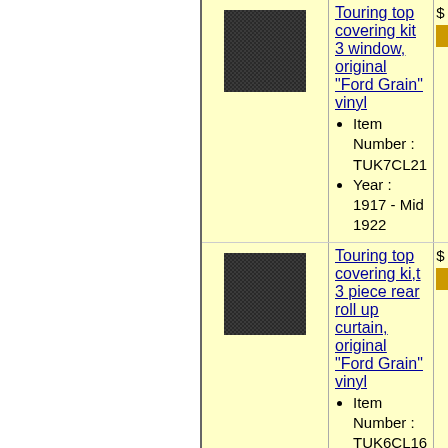[Figure (photo): Swatch of black 'Ford Grain' vinyl texture]
Touring top covering kit 3 window, original "Ford Grain" vinyl
• Item Number : TUK7CL21
• Year : 1917 - Mid 1922
[Figure (photo): Swatch of black 'Ford Grain' vinyl texture]
Touring top covering ki,t 3 piece rear roll up curtain, original "Ford Grain" vinyl
• Item Number : TUK6CL16
• Year : 1914-1916
Roadster top bows, 3 piece set, Steam Bent Oak
• Item Number : 7940SBA3
• Year : 1913-1917
Body plug, for T's with no top bow saddles, plastic